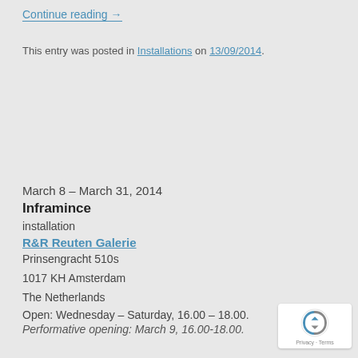Continue reading →
This entry was posted in Installations on 13/09/2014.
March 8 – March 31, 2014
Inframince
installation
R&R Reuten Galerie
Prinsengracht 510s
1017 KH Amsterdam
The Netherlands
Open: Wednesday – Saturday, 16.00 – 18.00.
Performative opening: March 9, 16.00-18.00.